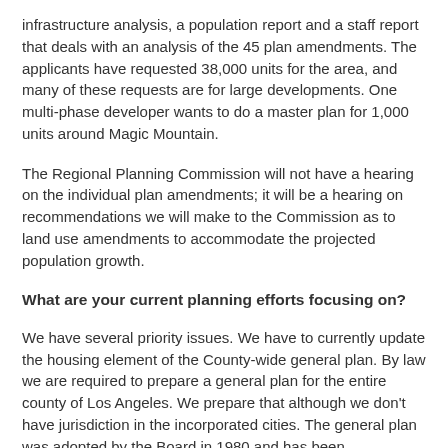infrastructure analysis, a population report and a staff report that deals with an analysis of the 45 plan amendments. The applicants have requested 38,000 units for the area, and many of these requests are for large developments. One multi-phase developer wants to do a master plan for 1,000 units around Magic Mountain.
The Regional Planning Commission will not have a hearing on the individual plan amendments; it will be a hearing on recommendations we will make to the Commission as to land use amendments to accommodate the projected population growth.
What are your current planning efforts focusing on?
We have several priority issues. We have to currently update the housing element of the County-wide general plan. By law we are required to prepare a general plan for the entire county of Los Angeles. We prepare that although we don't have jurisdiction in the incorporated cities. The general plan was adopted by the Board in 1980 and has been subsequently updated. The housing plan discusses the need and types of housing units.
We looked at our 14 planning areas and anticipate where the development will go until the year 2010. We've allocated the